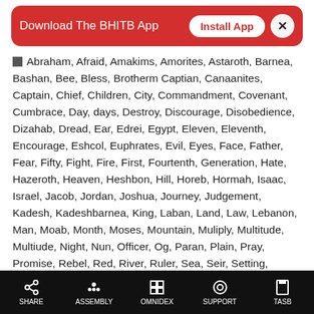[Figure (infographic): Red banner with 'Download The BHITB App' text, white 'Install App' button, and close X button]
Abraham, Afraid, Amakims, Amorites, Astaroth, Barnea, Bashan, Bee, Bless, Brotherm Captian, Canaanites, Captain, Chief, Children, City, Commandment, Covenant, Cumbrace, Day, days, Destroy, Discourage, Disobedience, Dizahab, Dread, Ear, Edrei, Egypt, Eleven, Eleventh, Encourage, Eshcol, Euphrates, Evil, Eyes, Face, Father, Fear, Fifty, Fight, Fire, First, Fourtenth, Generation, Hate, Hazeroth, Heaven, Heshbon, Hill, Horeb, Hormah, Isaac, Israel, Jacob, Jordan, Joshua, Journey, Judgement, Kadesh, Kadeshbarnea, King, Laban, Land, Law, Lebanon, Man, Moab, Month, Moses, Mountain, Muliply, Multitude, Multiude, Night, Nun, Officer, Og, Paran, Plain, Pray, Promise, Rebel, Red, River, Ruler, Sea, Seir, Setting, Sihon, Sin, Slain, South, Stars, Stife, Tent, Thousand, Tophel, Tribe, Twelve, wilderness, Wise, Word
SHARE  ASSEMBLY  OMNIDEX  SUPPORT  TASB